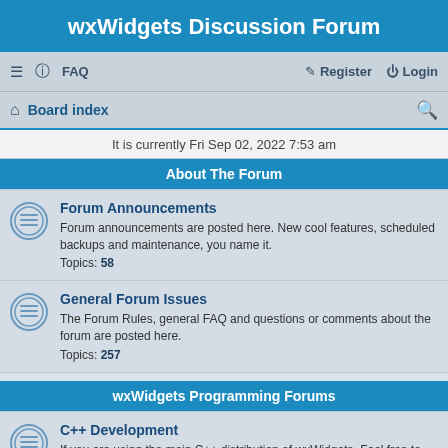wxWidgets Discussion Forum
≡  FAQ    Register  Login
Board index  [search icon]
It is currently Fri Sep 02, 2022 7:53 am
About The Forum
Forum Announcements
Forum announcements are posted here. New cool features, scheduled backups and maintenance, you name it.
Topics: 58
General Forum Issues
The Forum Rules, general FAQ and questions or comments about the forum are posted here.
Topics: 257
wxWidgets Programming Forums
C++ Development
If you are using the main C++ distribution of wxWidgets, Feel free to ask any question related to wxWidgets development here. This means questions regarding to C++ and wxWidgets, not compile problems.
Topics: 25922
Component Writing
Are you writing your own components and need help with how to set them up or have questions about the components you are deriving from? Ask them